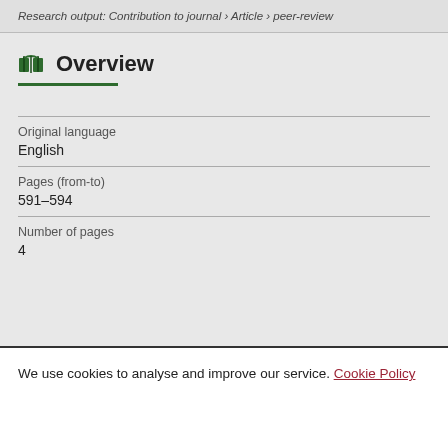Research output: Contribution to journal › Article › peer-review
Overview
Original language
English
Pages (from-to)
591-594
Number of pages
4
We use cookies to analyse and improve our service. Cookie Policy